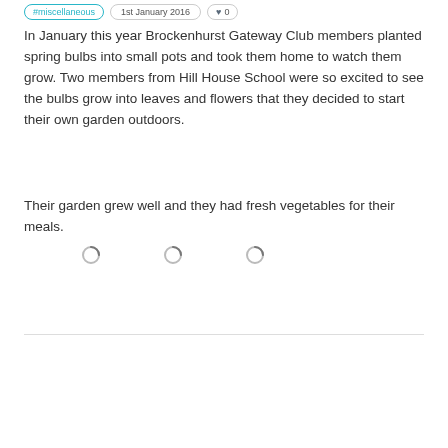#miscellaneous  1st January 2016  ♥ 0
In January this year Brockenhurst Gateway Club members planted spring bulbs into small pots and took them home to watch them grow. Two members from Hill House School were so excited to see the bulbs grow into leaves and flowers that they decided to start their own garden outdoors.
Their garden grew well and they had fresh vegetables for their meals.
[Figure (other): Three loading spinner icons arranged horizontally, indicating images are loading]